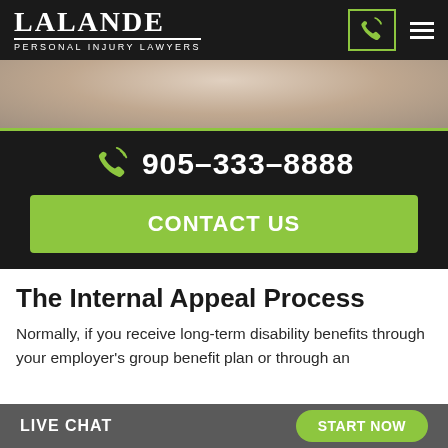LALANDE PERSONAL INJURY LAWYERS
[Figure (screenshot): Hero image showing a person in a light sweater, cropped at torso level]
905-333-8888
CONTACT US
The Internal Appeal Process
Normally, if you receive long-term disability benefits through your employer's group benefit plan or through an
LIVE CHAT   START NOW